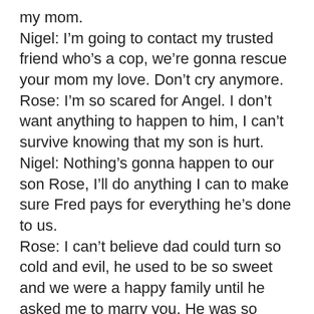my mom.
Nigel: I'm going to contact my trusted friend who's a cop, we're gonna rescue your mom my love. Don't cry anymore.
Rose: I'm so scared for Angel. I don't want anything to happen to him, I can't survive knowing that my son is hurt.
Nigel: Nothing's gonna happen to our son Rose, I'll do anything I can to make sure Fred pays for everything he's done to us.
Rose: I can't believe dad could turn so cold and evil, he used to be so sweet and we were a happy family until he asked me to marry you. He was so ambitious, sometimes I wonder if he's really my father.
Nigel: Fred has always been like that Rose, you guys just didn't know it. My dad told me everything about him, he's ambitious and